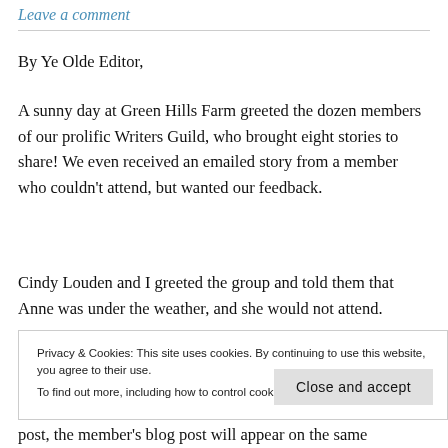Leave a comment
By Ye Olde Editor,
A sunny day at Green Hills Farm greeted the dozen members of our prolific Writers Guild, who brought eight stories to share! We even received an emailed story from a member who couldn't attend, but wanted our feedback.
Cindy Louden and I greeted the group and told them that Anne was under the weather, and she would not attend. We reminded everyone to follow our blog, and use the link
Privacy & Cookies: This site uses cookies. By continuing to use this website, you agree to their use.
To find out more, including how to control cookies, see here: Cookie Policy
post, the member's blog post will appear on the same